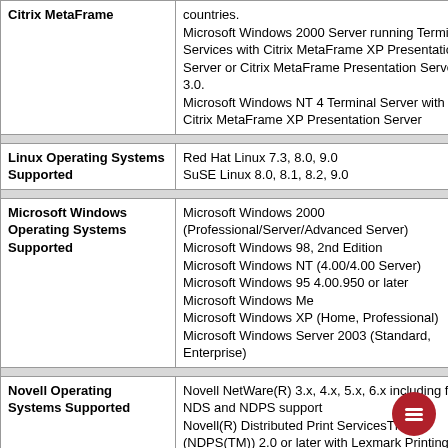| Category | Details |
| --- | --- |
| Citrix MetaFrame | countries.
Microsoft Windows 2000 Server running Terminal Services with Citrix MetaFrame XP Presentation Server or Citrix MetaFrame Presentation Server 3.0.
Microsoft Windows NT 4 Terminal Server with Citrix MetaFrame XP Presentation Server |
| Linux Operating Systems Supported | Red Hat Linux 7.3, 8.0, 9.0
SuSE Linux 8.0, 8.1, 8.2, 9.0 |
| Microsoft Windows Operating Systems Supported | Microsoft Windows 2000 (Professional/Server/Advanced Server)
Microsoft Windows 98, 2nd Edition
Microsoft Windows NT (4.00/4.00 Server)
Microsoft Windows 95 4.00.950 or later
Microsoft Windows Me
Microsoft Windows XP (Home, Professional)
Microsoft Windows Server 2003 (Standard, Enterprise) |
| Novell Operating Systems Supported | Novell NetWare(R) 3.x, 4.x, 5.x, 6.x including full NDS and NDPS support
Novell(R) Distributed Print ServicesTM (NDPS(TM)) 2.0 or later with Lexmark Printing Solution |
| Other Operating Systems | IBM iSeries or IBM AS/400 Systems with TCP/IP with OS/400 V5R1 or later... |